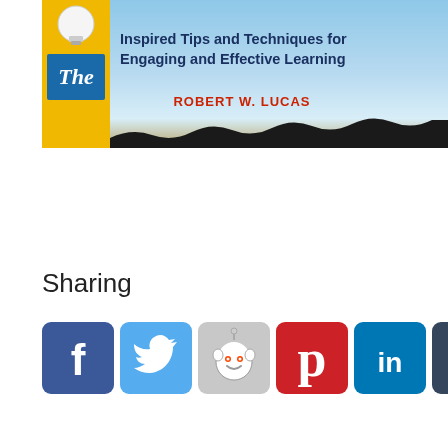[Figure (photo): Book cover showing 'Inspired Tips and Techniques for Engaging and Effective Learning' by Robert W. Lucas, with a yellow and blue spine element and sky background]
Sharing
[Figure (infographic): Row of social media sharing icons: Facebook, Twitter, Reddit, Pinterest, LinkedIn, Tumblr, Email]